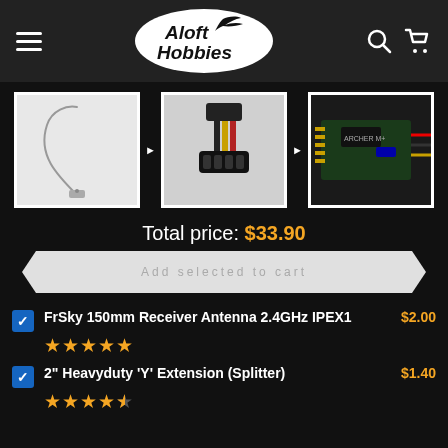Aloft Hobbies
[Figure (photo): Three product images: FrSky antenna wire, Y-extension cable splitter, and Archer receiver board]
Total price: $33.90
Add selected to cart
FrSky 150mm Receiver Antenna 2.4GHz IPEX1 $2.00 ★★★★★
2" Heavyduty 'Y' Extension (Splitter) $1.40 ★★★★½